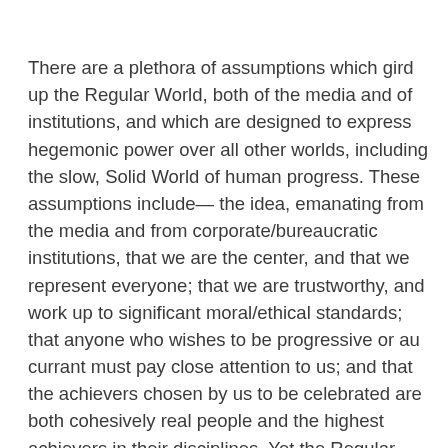There are a plethora of assumptions which gird up the Regular World, both of the media and of institutions, and which are designed to express hegemonic power over all other worlds, including the slow, Solid World of human progress. These assumptions include— the idea, emanating from the media and from corporate/bureaucratic institutions, that we are the center, and that we represent everyone; that we are trustworthy, and work up to significant moral/ethical standards; that anyone who wishes to be progressive or au currant must pay close attention to us; and that the achievers chosen by us to be celebrated are both cohesively real people and the highest achievers in their disciplines. Yet the Regular World is maintained, also, by some obvious fallacies— that human progress happens at even intervals, which it does not; that there is always relevant action in the high disciplines and everywhere else, which there is not; that corporate and bureaucratic sectors do not put together dummy packages to sell to the public, which they do; and that slow, Solid World progress does not (invariably) wind up grabbing the historical brass ring every time, thus nullifying